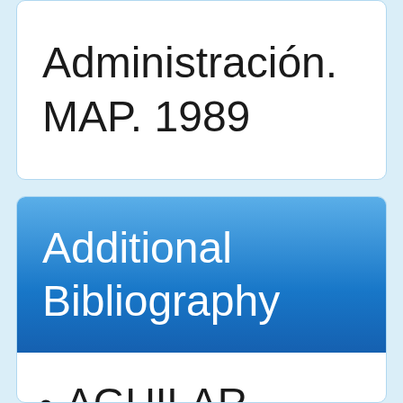Administración. MAP. 1989
Additional Bibliography
AGUILAR VILLANUEVA, Luis F. (ed.). El